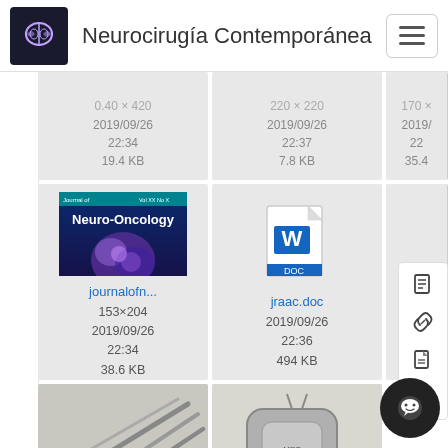Neurocirugía Contemporánea
[Figure (screenshot): File grid showing journalofn... image file (153×204, 2019/09/26 22:34, 38.6 KB), jraac.doc file (2019/09/26 22:36, 494 KB), and partially visible third item. Above row shows partial cards with dates 2019/09/26 22:34 19.4 KB, 2019/09/26 22:37 7.8 KB, and partial 35.4. Bottom row shows partial thumbnail images.]
journalofn...
153×204
2019/09/26 22:34
38.6 KB
jraac.doc
2019/09/26 22:36
494 KB